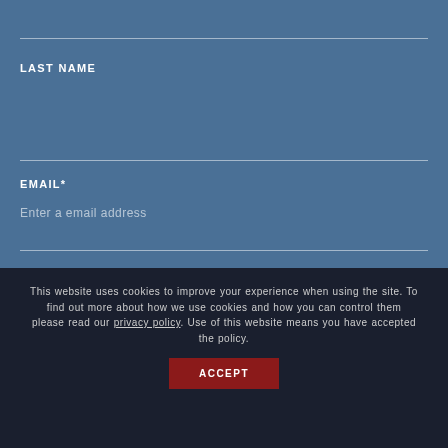LAST NAME
EMAIL*
Enter a email address
This website uses cookies to improve your experience when using the site. To find out more about how we use cookies and how you can control them please read our privacy policy. Use of this website means you have accepted the policy.
ACCEPT